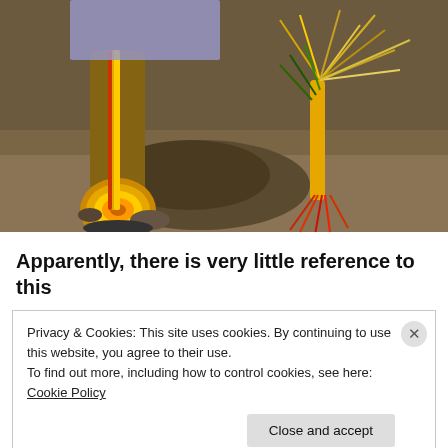[Figure (photo): Photo showing feet/ankles of a person wearing colorful woven straps and decorative grass/straw bundles in yellow, red, green and orange colors, standing on rocky ground]
Apparently, there is very little reference to this
Privacy & Cookies: This site uses cookies. By continuing to use this website, you agree to their use.
To find out more, including how to control cookies, see here: Cookie Policy
Close and accept